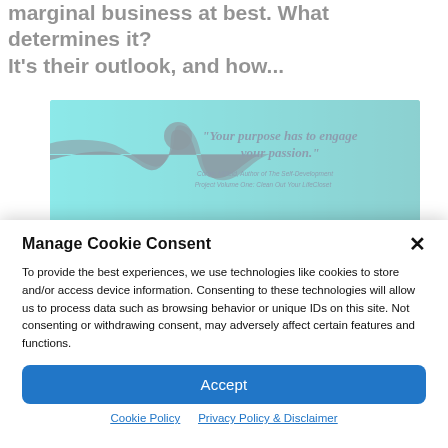marginal business at best. What determines it? It's their outlook, and how...
[Figure (photo): Banner image with cyan/teal background showing a dark silhouette puzzle piece on the left and a quote: "Your purpose has to engage your passion." attributed to Corbie Mitleid, Author of The Self-Development Project Volume One: Clean Out Your LifeCloset]
Manage Cookie Consent
To provide the best experiences, we use technologies like cookies to store and/or access device information. Consenting to these technologies will allow us to process data such as browsing behavior or unique IDs on this site. Not consenting or withdrawing consent, may adversely affect certain features and functions.
Accept
Cookie Policy   Privacy Policy & Disclaimer